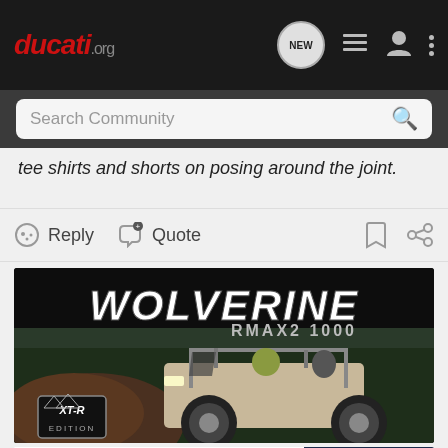ducati.org
Search Community
tee shirts and shorts on posing around the joint.
Reply  Quote
[Figure (photo): Yamaha Wolverine RMAX2 1000 XT-R Edition off-road vehicle advertisement]
[Figure (photo): Suzuki GSX-S1000GT motorcycle advertisement showing GT SEE IT NOW]